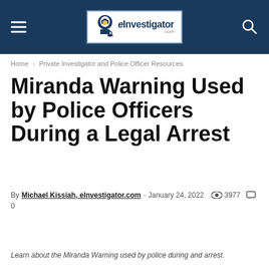eInvestigator.com
Home › Private Investigator and Police Officer Resources
Miranda Warning Used by Police Officers During a Legal Arrest
By Michael Kissiah, eInvestigator.com - January 24, 2022  3977  0
Learn about the Miranda Warning used by police during and arrest.